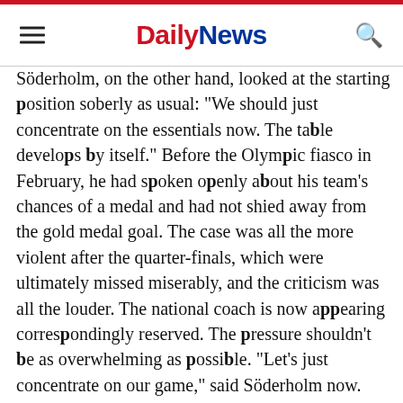Daily News
Söderholm, on the other hand, looked at the starting position soberly as usual: "We should just concentrate on the essentials now. The table develops by itself." Before the Olympic fiasco in February, he had spoken openly about his team's chances of a medal and had not shied away from the gold medal goal. The case was all the more violent after the quarter-finals, which were ultimately missed miserably, and the criticism was all the louder. The national coach is now appearing correspondingly reserved. The pressure shouldn't be as overwhelming as possible. "Let's just concentrate on our game," said Söderholm now. And that's working great at the moment. His team also wins the less good or tight games again.